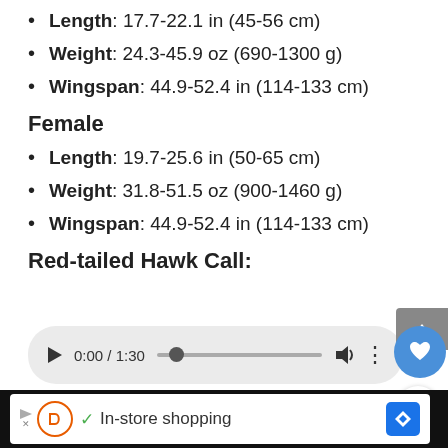Length: 17.7-22.1 in (45-56 cm)
Weight: 24.3-45.9 oz (690-1300 g)
Wingspan: 44.9-52.4 in (114-133 cm)
Female
Length: 19.7-25.6 in (50-65 cm)
Weight: 31.8-51.5 oz (900-1460 g)
Wingspan: 44.9-52.4 in (114-133 cm)
Red-tailed Hawk Call:
[Figure (other): Audio player showing 0:00 / 1:30 with play button, progress bar, volume icon, and more options button]
Credit: Phoenix Birder, XC493105. Accessible at www.xeno-
[Figure (other): Advertisement bar with In-store shopping text and navigation icons]